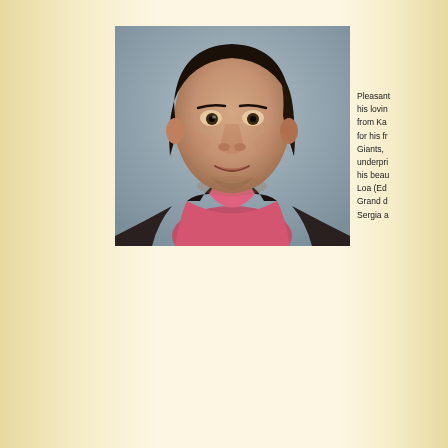[Figure (photo): Portrait photo of a man with dark hair wearing a pink shirt and dark vest/jacket, smiling slightly, against a grey background. Appears to be from the 1970s or 1980s era.]
Pleasant his loving from Ka for his fr Giants, underpri his beau Loa (Ede Grand d Sergia a